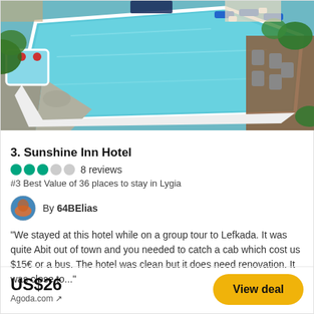[Figure (photo): Aerial view of a hotel swimming pool area with blue water, white pool edges, blue lounge chairs, wooden deck, stone paving, and surrounding greenery and hotel buildings.]
3. Sunshine Inn Hotel
3 filled circles, 2 empty circles — 8 reviews
#3 Best Value of 36 places to stay in Lygia
By 64BElias
"We stayed at this hotel while on a group tour to Lefkada. It was quite Abit out of town and you needed to catch a cab which cost us $15€ or a bus. The hotel was clean but it does need renovation. It was close to..."
US$26
Agoda.com ↗
View deal